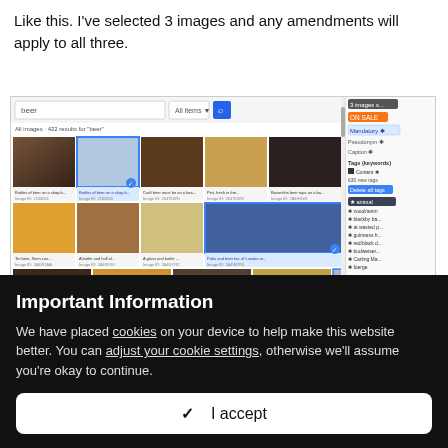Like this. I've selected 3 images and any amendments will apply to all three.
[Figure (screenshot): Screenshot of an image search interface showing 'beer' search results with multiple beer images in a grid. Some images are highlighted with blue borders indicating selection. Right panel shows tags and metadata options including Mandatory, Pseudonym, Caption, Tags/Keywords sections with animal tag highlighted.]
Important Information
We have placed cookies on your device to help make this website better. You can adjust your cookie settings, otherwise we'll assume you're okay to continue.
✓  I accept